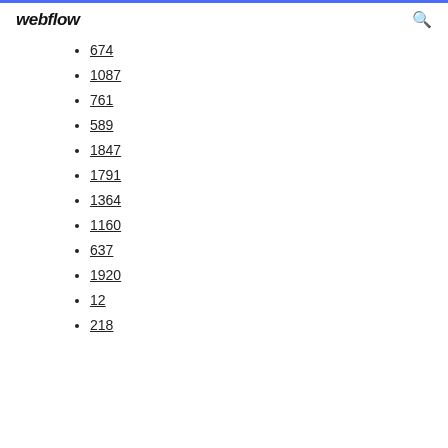webflow
674
1087
761
589
1847
1791
1364
1160
637
1920
12
218